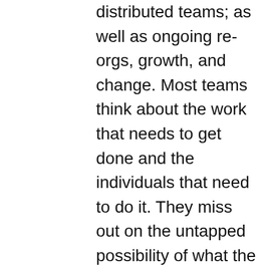distributed teams; as well as ongoing re-orgs, growth, and change. Most teams think about the work that needs to get done and the individuals that need to do it. They miss out on the untapped possibility of what the team can achieve by focusing on their norms, culture, processes, values, and relationships.
So, team leader: what if you could awaken that possibility by empowering your team to co-create a thriving team culture? What if you could strengthen the ties between team members with trust, reliability, and shared ownership, so team members share the role of